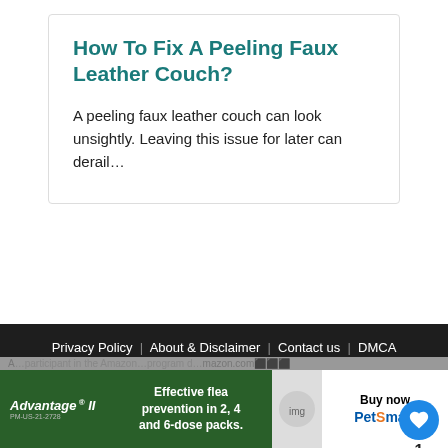How To Fix A Peeling Faux Leather Couch?
A peeling faux leather couch can look unsightly. Leaving this issue for later can derail…
[Figure (screenshot): Pagination controls showing back arrow, pages 1, 2, 3, 4, 5, 6, ellipsis, 22, and forward arrow]
[Figure (infographic): Like button (heart icon, blue circle) with count 1, and share button below]
[Figure (screenshot): What's Next panel showing thumbnail and text 'Does Bathroom...']
Privacy Policy | About & Disclaimer | Contact us | DMCA
[Figure (screenshot): Advertisement banner: Advantage II flea prevention - Effective flea prevention in 2, 4 and 6-dose packs. Buy now PetSmart]